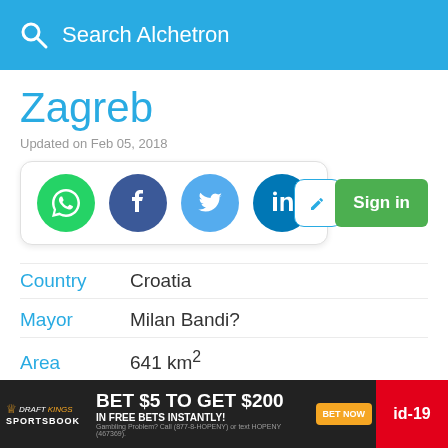Search Alchetron
Zagreb
Updated on Feb 05, 2018
[Figure (screenshot): Social share buttons (WhatsApp, Facebook, Twitter, LinkedIn) and edit/sign-in buttons]
Country  Croatia
Mayor  Milan Bandi?
Area  641 km²
Population  779,145 (2001)
[Figure (screenshot): DraftKings Sportsbook ad: BET $5 TO GET $200 IN FREE BETS INSTANTLY! BET NOW id-19]